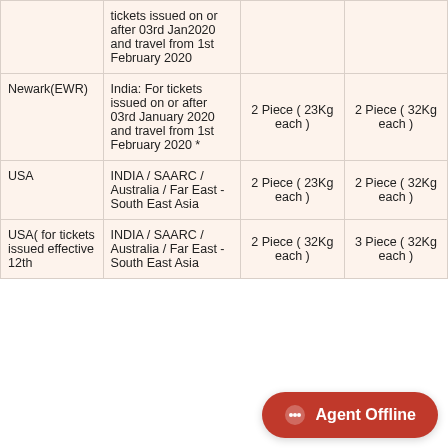|  | tickets issued on or after 03rd Jan2020 and travel from 1st February 2020 |  |  |
| Newark(EWR) | India: For tickets issued on or after 03rd January 2020 and travel from 1st February 2020 * | 2 Piece ( 23Kg each ) | 2 Piece ( 32Kg each ) |
| USA | INDIA / SAARC / Australia / Far East - South East Asia | 2 Piece ( 23Kg each ) | 2 Piece ( 32Kg each ) |
| USA( for tickets issued effective 12th | INDIA / SAARC / Australia / Far East - South East Asia | 2 Piece ( 32Kg each ) | 3 Piece ( 32Kg each ) |